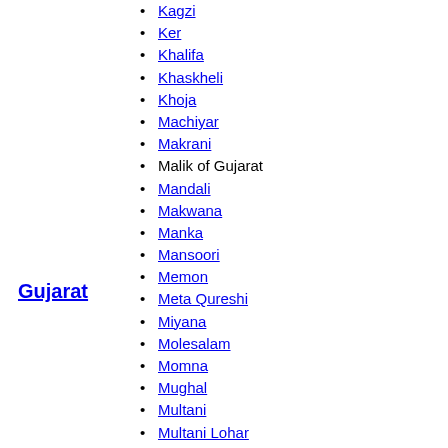Gujarat
Kagzi
Ker
Khalifa
Khaskheli
Khoja
Machiyar
Makrani
Malik of Gujarat
Mandali
Makwana
Manka
Mansoori
Memon
Meta Qureshi
Miyana
Molesalam
Momna
Mughal
Multani
Multani Lohar
Mutwa
Nagori
Node
Panar
Parmar